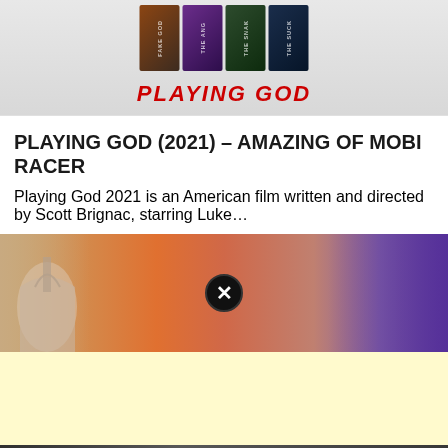[Figure (illustration): Movie covers for Playing God series displayed as book spines including fake God, The Angry, The Snake, The Suck titles, with PLAYING GOD text in red below]
PLAYING GOD (2021) – AMAZING OF MOBI RACER
Playing God 2021 is an American film written and directed by Scott Brignac, starring Luke...
[Figure (photo): Animated scene showing cartoon characters with a guitar player and a woman against a colorful background with a building, and a close/X button overlay]
[Figure (other): Yellow advertisement area (blank)]
[Figure (photo): Dark image strip at bottom, partially visible]